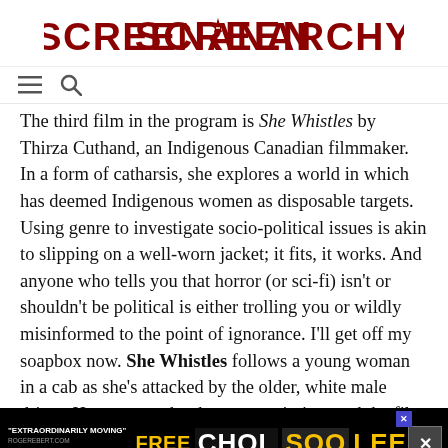SCREENANARCHY
The third film in the program is She Whistles by Thirza Cuthand, an Indigenous Canadian filmmaker. In a form of catharsis, she explores a world in which has deemed Indigenous women as disposable targets. Using genre to investigate socio-political issues is akin to slipping on a well-worn jacket; it fits, it works. And anyone who tells you that horror (or sci-fi) isn't or shouldn't be political is either trolling you or wildly misinformed to the point of ignorance. I'll get off my soapbox now. She Whistles follows a young woman in a cab as she's attacked by the older, white male driver. Her own mother has gone missing, and the film serves as a backlash to colonialism in the sense that the filmmaker and the characters perform a cathartic... (continues)
[Figure (other): Advertisement banner for 'Free Chol Soo Lee' on MUBI, described as 'Extraordinarily Moving' by RogerEbert.com, Starts Friday]